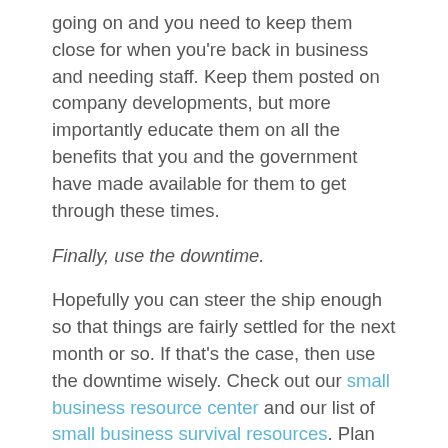going on and you need to keep them close for when you're back in business and needing staff. Keep them posted on company developments, but more importantly educate them on all the benefits that you and the government have made available for them to get through these times.
Finally, use the downtime.
Hopefully you can steer the ship enough so that things are fairly settled for the next month or so. If that's the case, then use the downtime wisely. Check out our small business resource center and our list of small business survival resources. Plan for the future. Get some employee evaluations done. Clean up your data. Do some online training. Rest.